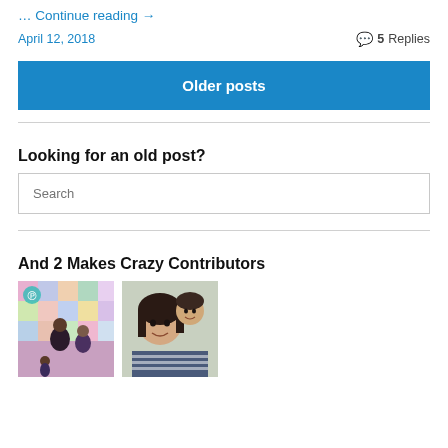… Continue reading →
April 12, 2018   💬 5 Replies
Older posts
Looking for an old post?
Search
And 2 Makes Crazy Contributors
[Figure (photo): Two contributor profile photos side by side: left photo shows two people posed, right photo shows a woman and young child smiling.]